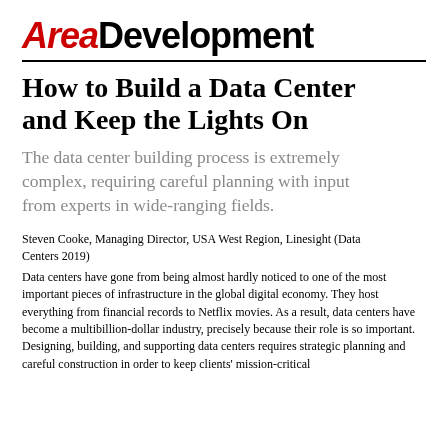AREA DEVELOPMENT
How to Build a Data Center and Keep the Lights On
The data center building process is extremely complex, requiring careful planning with input from experts in wide-ranging fields.
Steven Cooke, Managing Director, USA West Region, Linesight (Data Centers 2019)
Data centers have gone from being almost hardly noticed to one of the most important pieces of infrastructure in the global digital economy. They host everything from financial records to Netflix movies. As a result, data centers have become a multibillion-dollar industry, precisely because their role is so important. Designing, building, and supporting data centers requires strategic planning and careful construction in order to keep clients' mission-critical